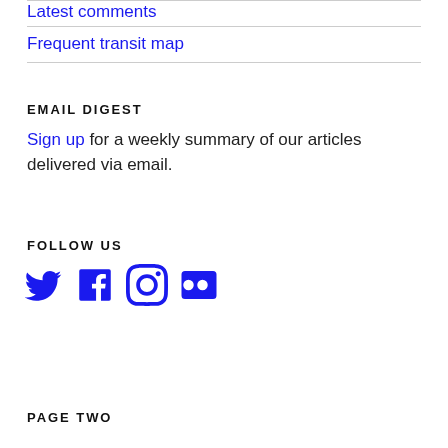Latest comments
Frequent transit map
EMAIL DIGEST
Sign up for a weekly summary of our articles delivered via email.
FOLLOW US
[Figure (illustration): Social media icons: Twitter, Facebook, Instagram, Flickr in blue]
PAGE TWO